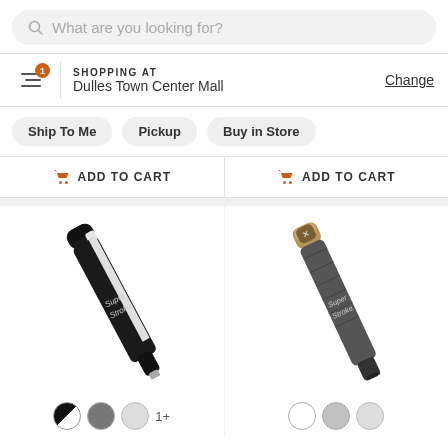What are you looking for?
SHOPPING AT
Dulles Town Center Mall
Change
Ship To Me  Pickup  Buy in Store
ADD TO CART  ADD TO CART
[Figure (photo): Black and white SuperStroke putter grip, angled diagonally, with color swatches below (black/white half, dark gray, light gray) and '1+' label]
[Figure (photo): Dark gray/tan SuperStroke putter grip with patterned texture, angled diagonally, with color swatches below (white, silver, light gray)]